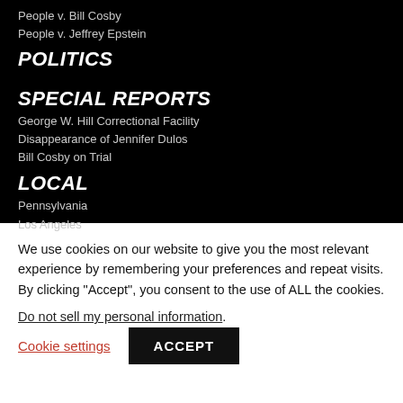People v. Bill Cosby
People v. Jeffrey Epstein
POLITICS
SPECIAL REPORTS
George W. Hill Correctional Facility
Disappearance of Jennifer Dulos
Bill Cosby on Trial
LOCAL
Pennsylvania
Los Angeles
We use cookies on our website to give you the most relevant experience by remembering your preferences and repeat visits. By clicking “Accept”, you consent to the use of ALL the cookies.
Do not sell my personal information.
Cookie settings
ACCEPT